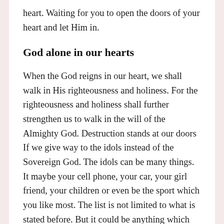heart. Waiting for you to open the doors of your heart and let Him in.
God alone in our hearts
When the God reigns in our heart, we shall walk in His righteousness and holiness. For the righteousness and holiness shall further strengthen us to walk in the will of the Almighty God. Destruction stands at our doors If we give way to the idols instead of the Sovereign God. The idols can be many things. It maybe your cell phone, your car, your girl friend, your children or even be the sport which you like most. The list is not limited to what is stated before. But it could be anything which has a place more than God in